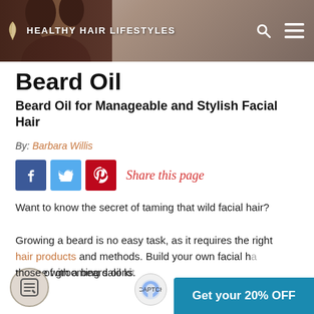HEALTHY HAIR LIFESTYLES
Beard Oil
Beard Oil for Manageable and Stylish Facial Hair
By: Barbara Willis
[Figure (infographic): Social share buttons: Facebook (blue), Twitter (light blue), Pinterest (red), with text 'Share this page' in red italic cursive]
Want to know the secret of taming that wild facial hair? Growing a beard is no easy task, as it requires the right hair products and methods. Build your own facial hair routine with a beard oil kit and get results that rival those of grooming salons.